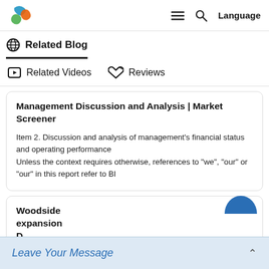MarketScreener logo | Navigation: menu, search, Language
Related Blog
Related Videos   Reviews
Management Discussion and Analysis | Market Screener
Item 2. Discussion and analysis of management's financial status and operating performance
Unless the context requires otherwise, references to "we", "our" or "our" in this report refer to BI
Woodside expansion...
Leave Your Message